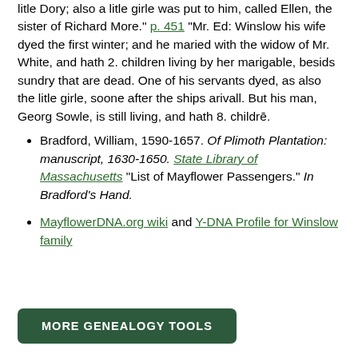litle Dory; also a litle girle was put to him, called Ellen, the sister of Richard More." p. 451 "Mr. Ed: Winslow his wife dyed the first winter; and he maried with the widow of Mr. White, and hath 2. children living by her marigable, besids sundry that are dead. One of his servants dyed, as also the litle girle, soone after the ships arivall. But his man, Georg Sowle, is still living, and hath 8. childrē.
Bradford, William, 1590-1657. Of Plimoth Plantation: manuscript, 1630-1650. State Library of Massachusetts "List of Mayflower Passengers." In Bradford's Hand.
MayflowerDNA.org wiki and Y-DNA Profile for Winslow family
MORE GENEALOGY TOOLS